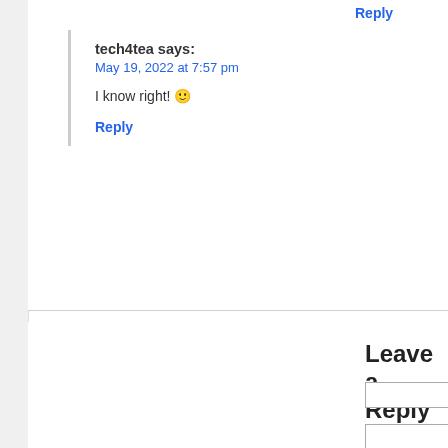Reply
tech4tea says:
May 19, 2022 at 7:57 pm
I know right! 🙂
Reply
Leave a Reply
Name (required)
Mail (will not be published)
Website